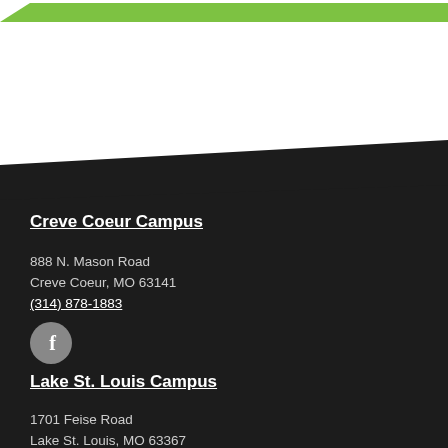[Figure (other): Green diagonal parallelogram shape at top of page]
Creve Coeur Campus
888 N. Mason Road
Creve Coeur, MO 63141
(314) 878-1883
[Figure (illustration): Gray circular Facebook icon with letter f]
Lake St. Louis Campus
1701 Feise Road
Lake St. Louis, MO 63367